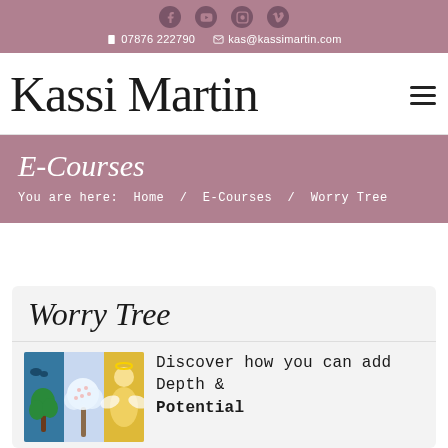Social icons: Facebook, YouTube, Instagram, Vimeo | 07876 222790 | kas@kassimartin.com
Kassi Martin
E-Courses
You are here: Home / E-Courses / Worry Tree
Worry Tree
Discover how you can add Depth & Potential